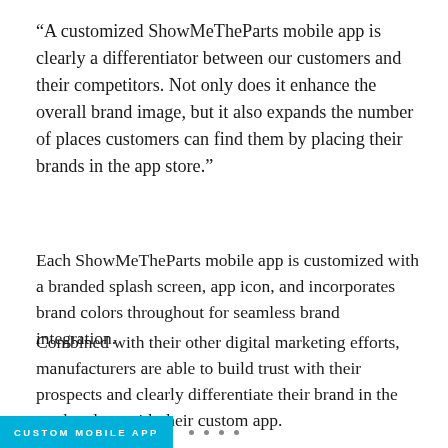“A customized ShowMeTheParts mobile app is clearly a differentiator between our customers and their competitors. Not only does it enhance the overall brand image, but it also expands the number of places customers can find them by placing their brands in the app store.”
Each ShowMeTheParts mobile app is customized with a branded splash screen, app icon, and incorporates brand colors throughout for seamless brand integration.
Combined with their other digital marketing efforts, manufacturers are able to build trust with their prospects and clearly differentiate their brand in the marketplace with their custom app.
CUSTOM MOBILE APP